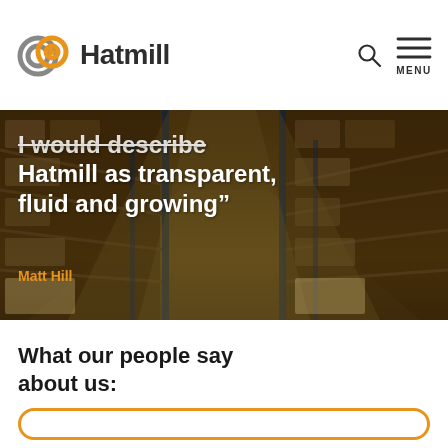[Figure (logo): Hatmill logo with interlocking chain-link circles in grey and orange, and bold text 'Hatmill']
[Figure (photo): Warehouse aisle with tall shelving racks containing packaged goods, dark amber overlay]
I would describe Hatmill as transparent, fluid and growing”
Matt Hill
What our people say about us: